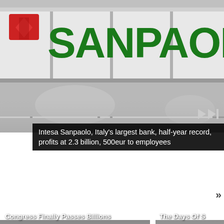[Figure (photo): Intesa Sanpaolo bank sign/logo photo — large green letters 'SANPAOLO' on a building sign with a red Intesa logo mark on the left, metallic frame panels, gray tones.]
Intesa Sanpaolo, Italy's largest bank, half-year record, profits at 2.3 billion, 500eur to employees
[Figure (photo): News article thumbnail image (gray gradient placeholder) for 'Congress Finally Passes Billions']
Congress Finally Passes Billions
[Figure (photo): News article thumbnail image (gray gradient placeholder) for 'The Days Of S...']
The Days Of S